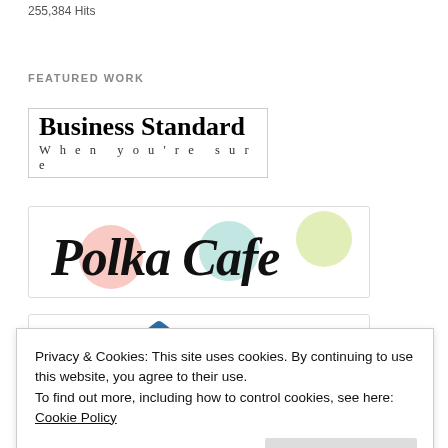255,384 Hits
FEATURED WORK
[Figure (logo): Business Standard newspaper logo with tagline 'When you're sure']
[Figure (logo): Polka Cafe logo with colorful polka dot circles in script font]
[Figure (logo): Partial logo with blue mountain/chevron shape visible at top]
Privacy & Cookies: This site uses cookies. By continuing to use this website, you agree to their use.
To find out more, including how to control cookies, see here: Cookie Policy
Close and accept
Gorgeous Nepal